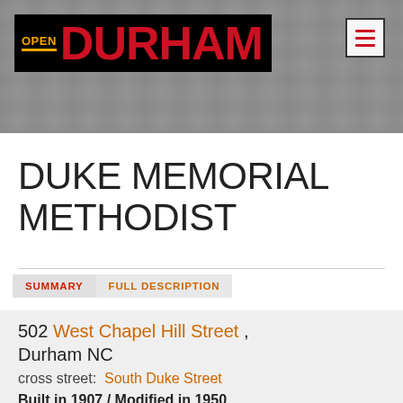[Figure (logo): Open Durham logo with aerial photo background header banner. Black background logo box with 'OPEN' in gold and 'DURHAM' in large red bold text. Menu hamburger button (three red lines) in top right with border.]
DUKE MEMORIAL METHODIST
SUMMARY   FULL DESCRIPTION
502 West Chapel Hill Street , Durham NC
cross street:  South Duke Street
Built in 1907 / Modified in 1950